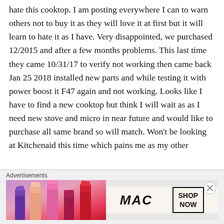hate this cooktop. I am posting everywhere I can to warn others not to buy it as they will love it at first but it will learn to hate it as I have. Very disappointed, we purchased 12/2015 and after a few months problems. This last time they came 10/31/17 to verify not working then came back Jan 25 2018 installed new parts and while testing it with power boost it F47 again and not working. Looks like I have to find a new cooktop but think I will wait as as I need new stove and micro in near future and would like to purchase all same brand so will match. Won't be looking at Kitchenaid this time which pains me as my other
Advertisements
[Figure (photo): MAC Cosmetics advertisement banner showing colorful lipsticks on left side and MAC logo with SHOP NOW button on right side]